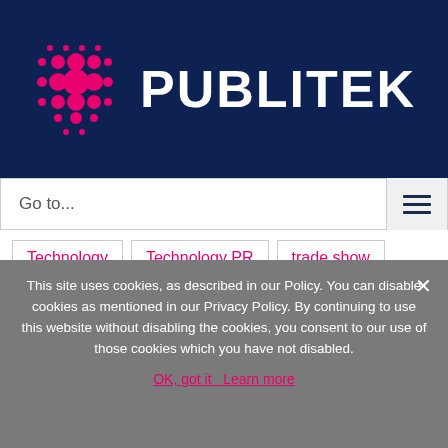[Figure (logo): Publitek logo: pink dot-grid pattern on dark navy background with white bold text PUBLITEK]
Go to...
Technology
Technology PR
trade show
Twitter
UBM
Video
writing
YouTube
This site uses cookies, as described in our Policy. You can disable cookies as mentioned in our Privacy Policy. By continuing to use this website without disabling the cookies, you consent to our use of those cookies which you have not disabled.
OK, got it  Learn more